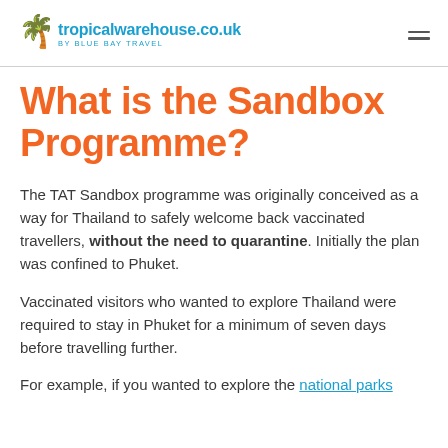tropicalwarehouse.co.uk BY BLUE BAY TRAVEL
What is the Sandbox Programme?
The TAT Sandbox programme was originally conceived as a way for Thailand to safely welcome back vaccinated travellers, without the need to quarantine. Initially the plan was confined to Phuket.
Vaccinated visitors who wanted to explore Thailand were required to stay in Phuket for a minimum of seven days before travelling further.
For example, if you wanted to explore the national parks